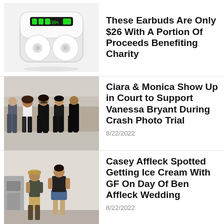[Figure (photo): White wireless earbuds in an open charging case with LED display showing 100%]
These Earbuds Are Only $26 With A Portion Of Proceeds Benefiting Charity
[Figure (photo): Group of people walking toward camera outdoors, including women in black outfits and a man in a suit with backpack]
Ciara & Monica Show Up in Court to Support Vanessa Bryant During Crash Photo Trial
8/22/2022
[Figure (photo): Two people standing near an outdoor food stall, one in khaki shorts and cap, other in dark sleeveless top and denim shorts]
Casey Affleck Spotted Getting Ice Cream With GF On Day Of Ben Affleck Wedding
8/22/2022